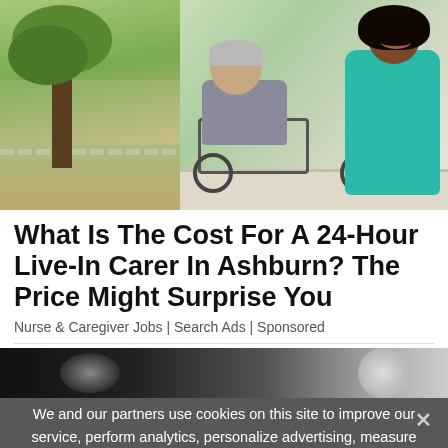[Figure (photo): Split image: left side shows outdoor park/garden scene with trees; right side shows a smiling Black female caregiver in teal scrubs pushing an elderly white man in a wheelchair outdoors.]
What Is The Cost For A 24-Hour Live-In Carer In Ashburn? The Price Might Surprise You
Nurse & Caregiver Jobs | Search Ads | Sponsored
[Figure (photo): Partially visible second image, mostly dark/black with some light tones on right side.]
We and our partners use cookies on this site to improve our service, perform analytics, personalize advertising, measure advertising performance, and remember website preferences.
Ok